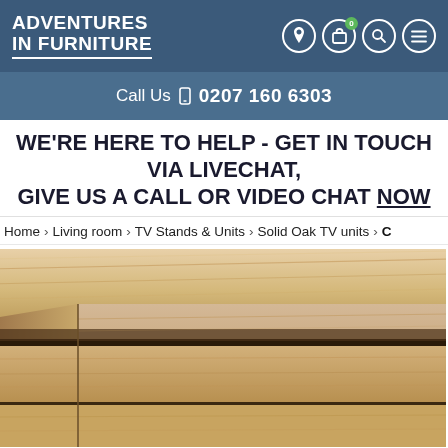ADVENTURES IN FURNITURE — navigation header with logo and icons (location, bag with 0 badge, search, menu)
Call Us 📞 0207 160 6303
WE'RE HERE TO HELP - GET IN TOUCH VIA LIVECHAT, GIVE US A CALL OR VIDEO CHAT NOW
Home > Living room > TV Stands & Units > Solid Oak TV units > C
[Figure (photo): Close-up photo of a light oak wood furniture piece (TV unit) showing a partially open drawer with visible wood grain texture in warm tan/beige tones.]